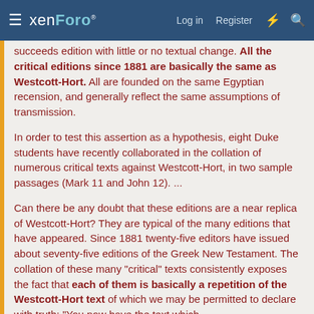xenForo — Log in  Register
succeeds edition with little or no textual change. All the critical editions since 1881 are basically the same as Westcott-Hort. All are founded on the same Egyptian recension, and generally reflect the same assumptions of transmission.
In order to test this assertion as a hypothesis, eight Duke students have recently collaborated in the collation of numerous critical texts against Westcott-Hort, in two sample passages (Mark 11 and John 12). ...
Can there be any doubt that these editions are a near replica of Westcott-Hort? They are typical of the many editions that have appeared. Since 1881 twenty-five editors have issued about seventy-five editions of the Greek New Testament. The collation of these many "critical" texts consistently exposes the fact that each of them is basically a repetition of the Westcott-Hort text of which we may be permitted to declare with truth: "You now have the text which